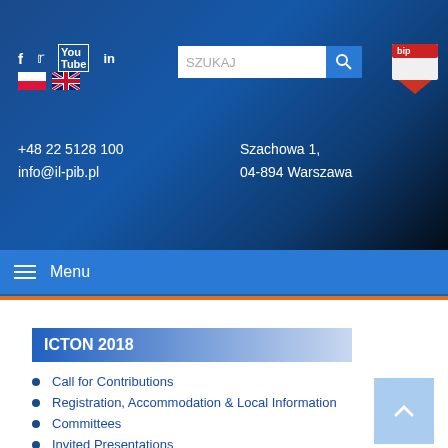Social icons: f, twitter, youtube, linkedin | SZUKAJ | BIP logo | +48 22 5128 100 | info@il-pib.pl | Szachowa 1, 04-894 Warszawa
Menu
ICTON 2018
Call for Contributions
Registration, Accommodation & Local Information
Committees
Invited Presentations